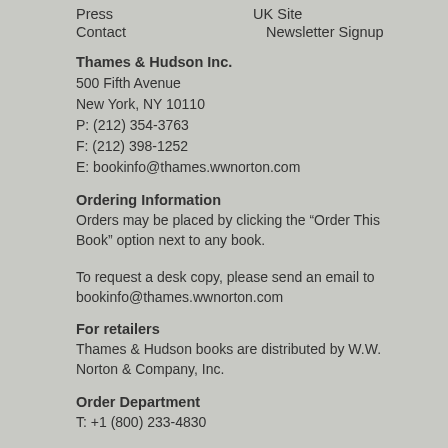Press
UK Site
Contact
Newsletter Signup
Thames & Hudson Inc.
500 Fifth Avenue
New York, NY 10110
P: (212) 354-3763
F: (212) 398-1252
E: bookinfo@thames.wwnorton.com
Ordering Information
Orders may be placed by clicking the “Order This Book” option next to any book.
To request a desk copy, please send an email to bookinfo@thames.wwnorton.com
For retailers
Thames & Hudson books are distributed by W.W. Norton & Company, Inc.
Order Department
T: +1 (800) 233-4830